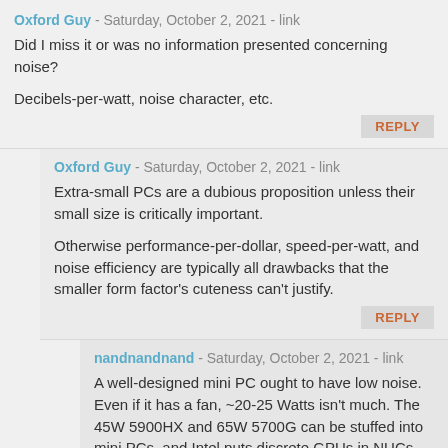Oxford Guy - Saturday, October 2, 2021 - link
Did I miss it or was no information presented concerning noise?

Decibels-per-watt, noise character, etc.
REPLY
Oxford Guy - Saturday, October 2, 2021 - link
Extra-small PCs are a dubious proposition unless their small size is critically important.

Otherwise performance-per-dollar, speed-per-watt, and noise efficiency are typically all drawbacks that the smaller form factor's cuteness can't justify.
REPLY
nandnandnand - Saturday, October 2, 2021 - link
A well-designed mini PC ought to have low noise. Even if it has a fan, ~20-25 Watts isn't much. The 45W 5900HX and 65W 5700G can be stuffed into mini PCs, and Intel puts discrete GPUs in NUCs.

Performance per dollar continues to be bad. Bad vs. a desktop, and I see 5700U laptop deals in the $650-750 range that compare well to either the barebones or configured